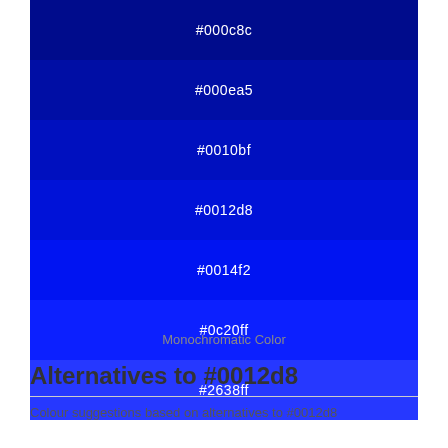[Figure (infographic): Monochromatic color swatches showing shades from #000c8c to #2638ff, each labeled with its hex code in white text on the respective color background.]
Monochromatic Color
Alternatives to #0012d8
Colour suggestions based on alternatives to #0012d8